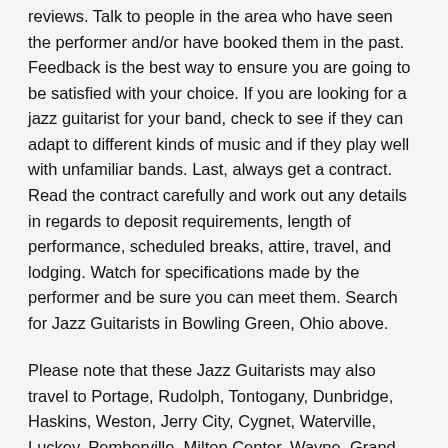reviews. Talk to people in the area who have seen the performer and/or have booked them in the past. Feedback is the best way to ensure you are going to be satisfied with your choice. If you are looking for a jazz guitarist for your band, check to see if they can adapt to different kinds of music and if they play well with unfamiliar bands. Last, always get a contract. Read the contract carefully and work out any details in regards to deposit requirements, length of performance, scheduled breaks, attire, travel, and lodging. Watch for specifications made by the performer and be sure you can meet them. Search for Jazz Guitarists in Bowling Green, Ohio above.
Please note that these Jazz Guitarists may also travel to Portage, Rudolph, Tontogany, Dunbridge, Haskins, Weston, Jerry City, Cygnet, Waterville, Luckey, Pemberville, Milton Center, Wayne, Grand Rapids, Bradner, Custar, Stony Ridge, West Millgrove, Lemoyne, Whitehouse, North Baltimore, Monclova, Risingsun, Neapolis, Hoytville, Bloomdale, McClure, Woodville, Van Buren, and Colton.